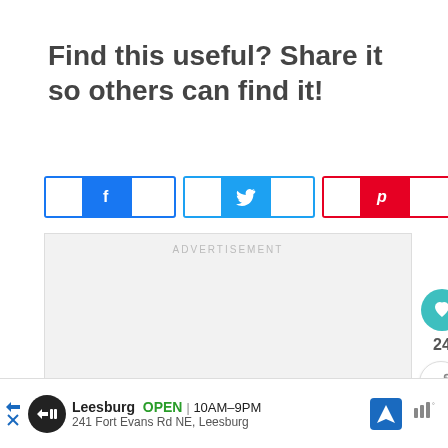Find this useful? Share it so others can find it!
[Figure (infographic): Social share buttons: Facebook (blue f), Twitter (blue bird), Pinterest (red P), plus a share count showing 23 SHARES]
[Figure (infographic): Advertisement area (ADVERTISEMENT label) with a heart/like button showing 24, and a share button on the right side. A 'WHAT'S NEXT' preview showing 'Have You Normalized...' with thumbnail.]
[Figure (infographic): Bottom advertisement banner: Leesburg OPEN 10AM-9PM, 241 Fort Evans Rd NE, Leesburg with logo, direction icon, and weather indicator]